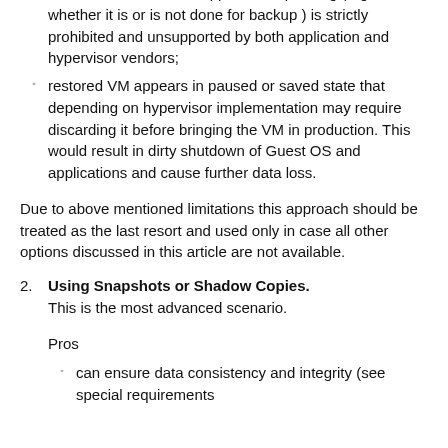data. For most of such applications pausing (regardless whether it is or is not done for backup ) is strictly prohibited and unsupported by both application and hypervisor vendors;
restored VM appears in paused or saved state that depending on hypervisor implementation may require discarding it before bringing the VM in production. This would result in dirty shutdown of Guest OS and applications and cause further data loss.
Due to above mentioned limitations this approach should be treated as the last resort and used only in case all other options discussed in this article are not available.
Using Snapshots or Shadow Copies. This is the most advanced scenario.
Pros
can ensure data consistency and integrity (see special requirements